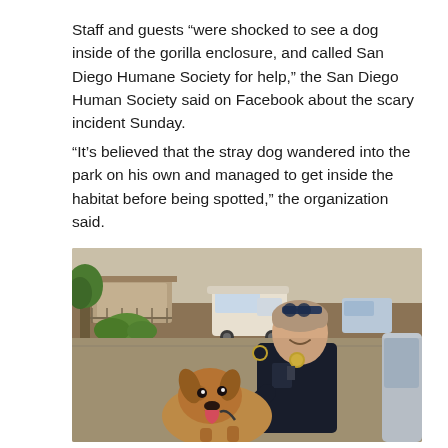Staff and guests “were shocked to see a dog inside of the gorilla enclosure, and called San Diego Humane Society for help,” the San Diego Human Society said on Facebook about the scary incident Sunday.
“It’s believed that the stray dog wandered into the park on his own and managed to get inside the habitat before being spotted,” the organization said.
[Figure (photo): A female law enforcement officer in a dark uniform smiles down at a tan/brown stray dog on a leash. The dog has its tongue out and appears happy. They are standing in a parking lot area with a white van and hilly terrain with vegetation in the background.]